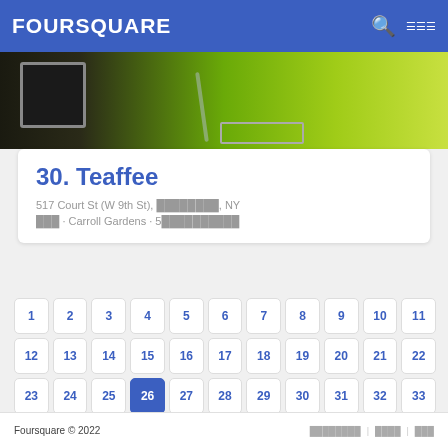FOURSQUARE
[Figure (photo): Interior photo of Teaffee cafe showing green wall and chrome fixtures]
30. Teaffee
517 Court St (W 9th St), ████████, NY
███ · Carroll Gardens · 5██████████
1 2 3 4 5 6 7 8 9 10 11 12 13 14 15 16 17 18 19 20 21 22 23 24 25 26 27 28 29 30 31 32 33 34 35
Foursquare © 2022